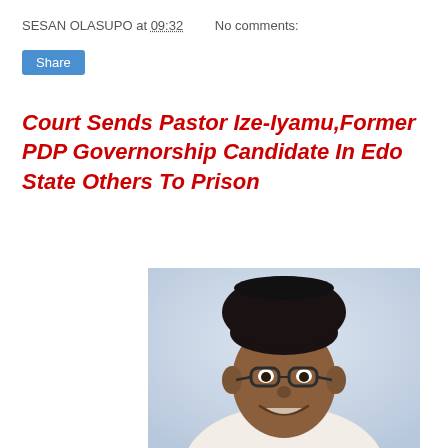SESAN OLASUPO at 09:32   No comments:
Share
Court Sends Pastor Ize-Iyamu,Former PDP Governorship Candidate In Edo State Others To Prison
[Figure (photo): Portrait photo of Pastor Ize-Iyamu, a man wearing a black cap and glasses, smiling, in white attire, against a light blue/grey background]